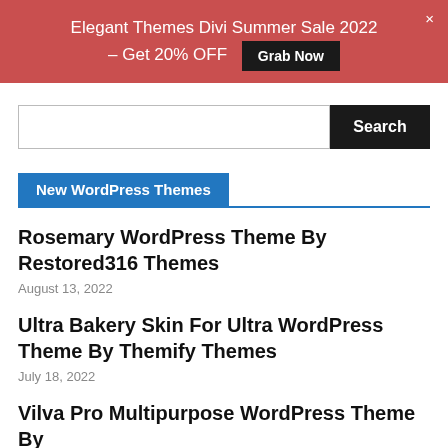Elegant Themes Divi Summer Sale 2022 – Get 20% OFF  Grab Now  ×
Search
New WordPress Themes
Rosemary WordPress Theme By Restored316 Themes
August 13, 2022
Ultra Bakery Skin For Ultra WordPress Theme By Themify Themes
July 18, 2022
Vilva Pro Multipurpose WordPress Theme By